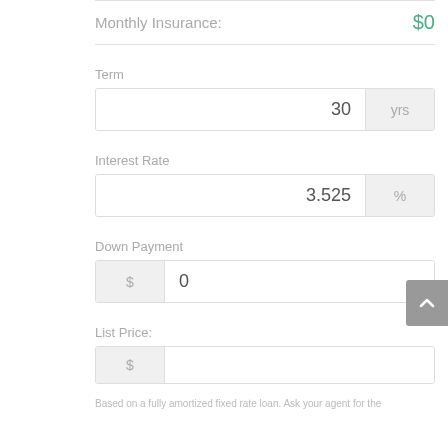Monthly Insurance: $0
Term
30 yrs
Interest Rate
3.525 %
Down Payment
$ 0
List Price:
$
Based on a fully amortized fixed rate loan. Ask your agent for the